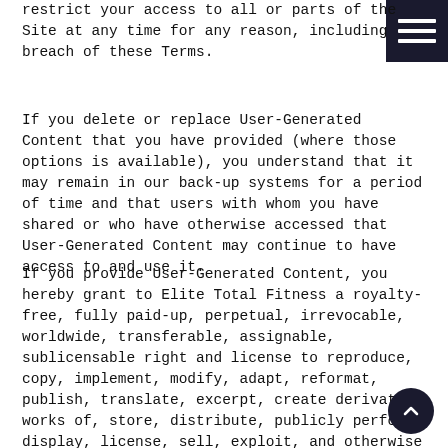(e.g., the ability to provide User-Generated Content, and to restrict your access to all or parts of the Site at any time for any reason, including breach of these Terms.
If you delete or replace User-Generated Content that you have provided (where those options is available), you understand that it may remain in our back-up systems for a period of time and that users with whom you have shared or who have otherwise accessed that User-Generated Content may continue to have access to and use it.
If you provide User-Generated Content, you hereby grant to Elite Total Fitness a royalty-free, fully paid-up, perpetual, irrevocable, worldwide, transferable, assignable, sublicensable right and license to reproduce, copy, implement, modify, adapt, reformat, publish, translate, excerpt, create derivative works of, store, distribute, publicly perform, display, license, sell, exploit, and otherwise use and distribute that User-Generated Content in any and all forms, media, technologies, and distribution methods now known or later developed, including for